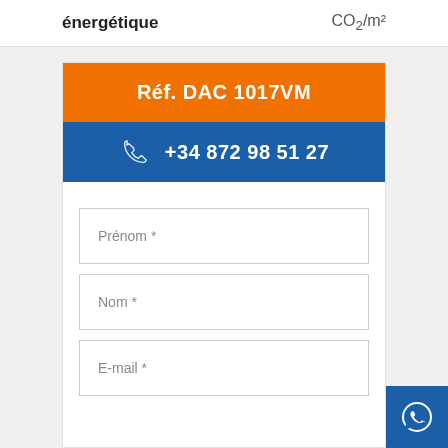énergétique
CO₂/m²
Réf. DAC 1017VM
+34 872 98 51 27
Prénom *
Nom *
E-mail *